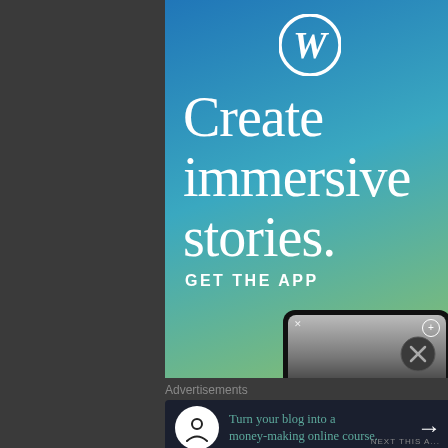[Figure (illustration): WordPress advertisement banner with gradient blue-green background, WordPress 'W' logo at top, large serif white text reading 'Create immersive stories.' with 'GET THE APP' call to action below, and a phone mockup at the bottom showing an image.]
Advertisements
[Figure (infographic): Dark navy rectangular ad banner: circular white icon with a person/tree symbol on left, teal text reading 'Turn your blog into a money-making online course.' in the center, and a white right-arrow on the right.]